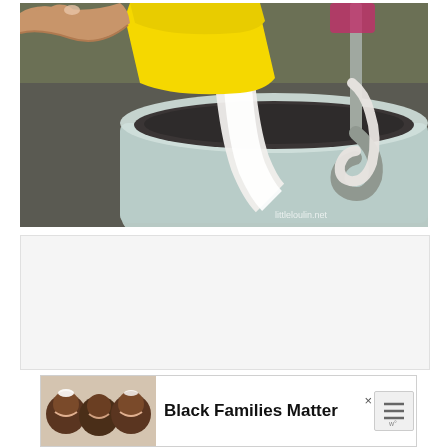[Figure (photo): A hand holding a yellow measuring cup pouring white liquid (milk or cream) into a mixing bowl with dough and a dough hook attachment. Kitchen setting. Watermark text partially visible in bottom right corner.]
[Figure (photo): Advertisement banner showing smiling Black family (children) on the left and bold text 'Black Families Matter' on the right with close/X buttons.]